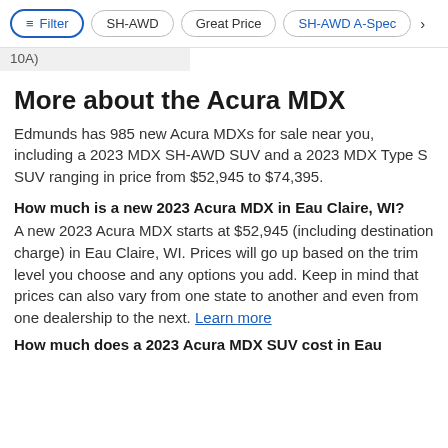Filter | SH-AWD | Great Price | SH-AWD A-Spec >
10A)
More about the Acura MDX
Edmunds has 985 new Acura MDXs for sale near you, including a 2023 MDX SH-AWD SUV and a 2023 MDX Type S SUV ranging in price from $52,945 to $74,395.
How much is a new 2023 Acura MDX in Eau Claire, WI?
A new 2023 Acura MDX starts at $52,945 (including destination charge) in Eau Claire, WI. Prices will go up based on the trim level you choose and any options you add. Keep in mind that prices can also vary from one state to another and even from one dealership to the next. Learn more
How much does a 2023 Acura MDX SUV cost in Eau